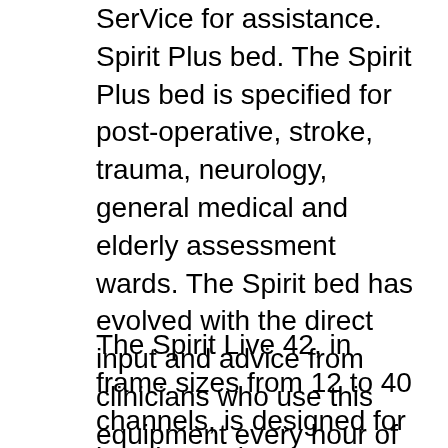SerVice for assistance. Spirit Plus bed. The Spirit Plus bed is specified for post-operative, stroke, trauma, neurology, general medical and elderly assessment wards. The Spirit bed has evolved with the direct input and advice from clinicians who use this equipment every hour of every day. It is designed to be robust, durable and reliable and simple to operate so that
The Spirit Live 42, in frame sizes from 12 to 40 channels, is designed for just these situations. Soundcraft's UltraMic Plus preamp give a 66dB gain range, making it capable of handling a wide range of input signals. The EQ on mono channels is a 4-band configuration with